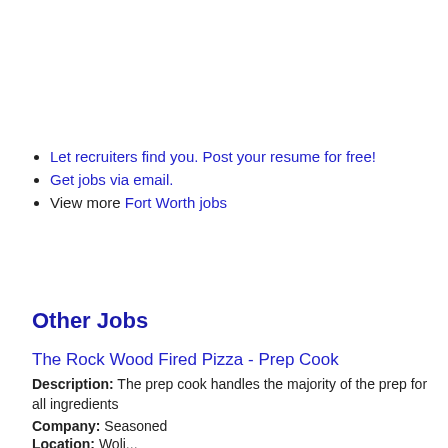Let recruiters find you. Post your resume for free!
Get jobs via email.
View more Fort Worth jobs
Other Jobs
The Rock Wood Fired Pizza - Prep Cook
Description: The prep cook handles the majority of the prep for all ingredients
Company: Seasoned
Location: ...